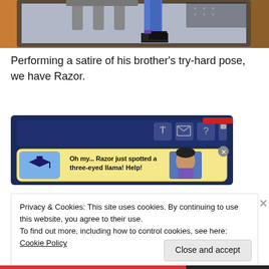[Figure (screenshot): Top portion of a screenshot showing a video game scene with a character sitting on a bench, legs visible, indoor setting with wooden frame]
Performing a satire of his brother's try-hard pose, we have Razor.
[Figure (screenshot): Game UI screenshot showing a notification bubble with a graduation cap icon and character portrait. Text reads: 'Oh my... Razor just spotted a three-eyed llama! Help!']
Privacy & Cookies: This site uses cookies. By continuing to use this website, you agree to their use.
To find out more, including how to control cookies, see here: Cookie Policy
Close and accept